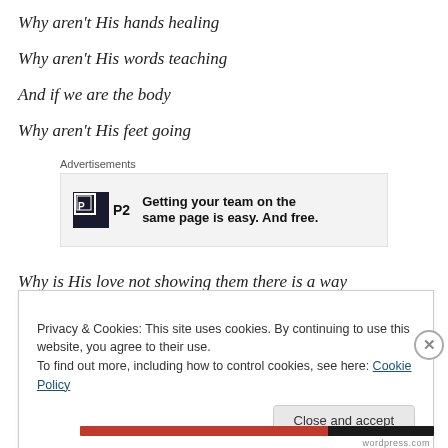Why aren't His hands healing
Why aren't His words teaching
And if we are the body
Why aren't His feet going
[Figure (other): Advertisement box with P2 logo and text: Getting your team on the same page is easy. And free.]
Why is His love not showing them there is a way
Privacy & Cookies: This site uses cookies. By continuing to use this website, you agree to their use.
To find out more, including how to control cookies, see here: Cookie Policy
Close and accept